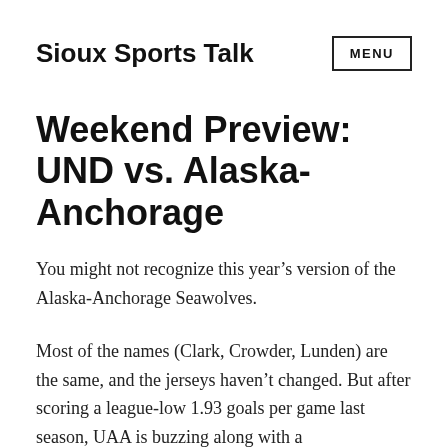Sioux Sports Talk
Weekend Preview: UND vs. Alaska-Anchorage
You might not recognize this year’s version of the Alaska‑Anchorage Seawolves.
Most of the names (Clark, Crowder, Lunden) are the same, and the jerseys haven’t changed. But after scoring a league‑low 1.93 goals per game last season, UAA is buzzing along with a